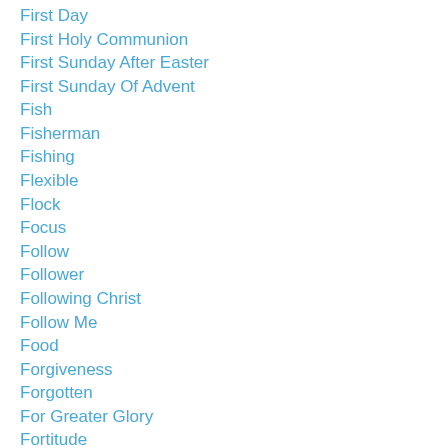First Day
First Holy Communion
First Sunday After Easter
First Sunday Of Advent
Fish
Fisherman
Fishing
Flexible
Flock
Focus
Follow
Follower
Following Christ
Follow Me
Food
Forgiveness
Forgotten
For Greater Glory
Fortitude
Forward
Foundation